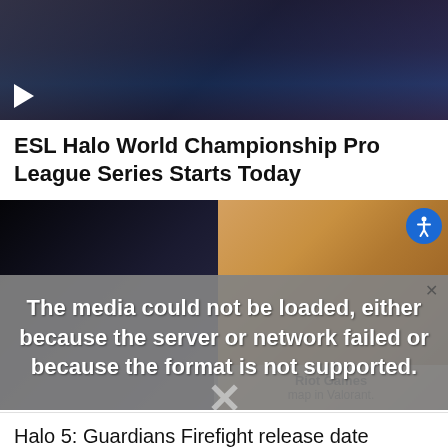[Figure (screenshot): Dark video thumbnail showing a corridor with blue/purple lighting and a play button in the bottom left corner]
ESL Halo World Championship Pro League Series Starts Today
[Figure (photo): Two Halo armored spartans facing each other - one dark blue/black on the left, one bronze/tan on the right, with a media error overlay reading 'The media could not be loaded, either because the server or network failed or because the format is not supported.' and a partially visible Riot Games advertisement]
Halo 5: Guardians Firefight release date revealed, play Halo 5 for free